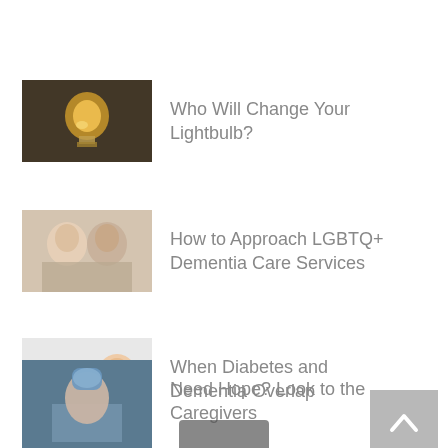Who Will Change Your Lightbulb?
How to Approach LGBTQ+ Dementia Care Services
When Diabetes and Dementia Overlap
Need Hope? Look to the Caregivers